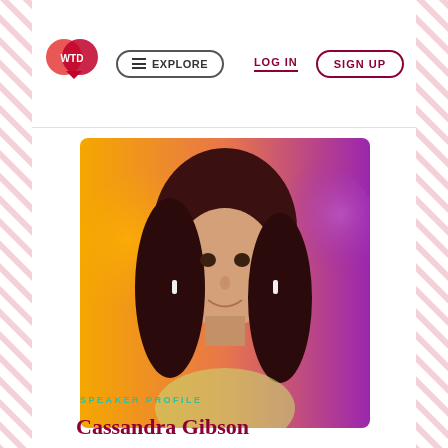WTD | EXPLORE | LOG IN | SIGN UP
[Figure (photo): Headshot of Cassandra Gibson, a woman with long dark reddish hair, smiling, wearing white earrings, against an orange and purple gradient background]
SPEAKER PROFILE
Cassandra Gibson